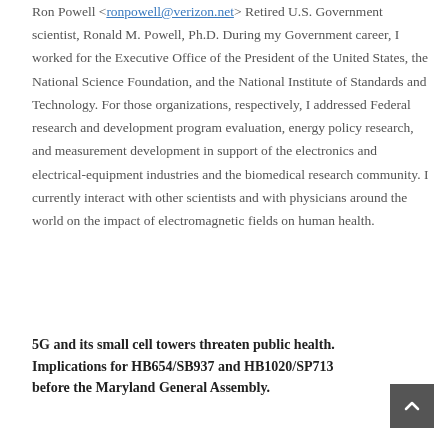Ron Powell <ronpowell@verizon.net> Retired U.S. Government scientist, Ronald M. Powell, Ph.D. During my Government career, I worked for the Executive Office of the President of the United States, the National Science Foundation, and the National Institute of Standards and Technology. For those organizations, respectively, I addressed Federal research and development program evaluation, energy policy research, and measurement development in support of the electronics and electrical-equipment industries and the biomedical research community. I currently interact with other scientists and with physicians around the world on the impact of electromagnetic fields on human health.
5G and its small cell towers threaten public health. Implications for HB654/SB937 and HB1020/SP713 before the Maryland General Assembly.